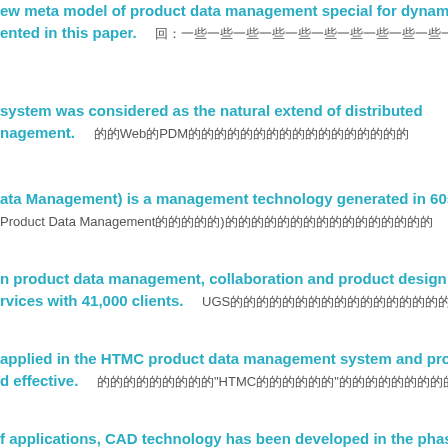ew meta model of product data management special for dynamic ented in this paper. [Chinese text]
system was considered as the natural extend of distributed nagement. [Chinese] Web PDM [Chinese]
ata Management) is a management technology generated in 60s last Product Data Management[Chinese]
n product data management, collaboration and product design rvices with 41,000 clients. UGS[Chinese]4[Chinese]
applied in the HTMC product data management system and proved d effective. [Chinese]HTMC[Chinese]
f applications, CAD technology has been developed in the phase of based on the Product Data Management (PDM). [Chinese] nagement(PDM) CAD/CAM/CAPP[Chinese]
d SAP system. To assist in promoting Product Data Management duct development, cost control. [Chinese]PDM SAP[Chinese]
nagement (PDM) has already became one of the hotspots in the